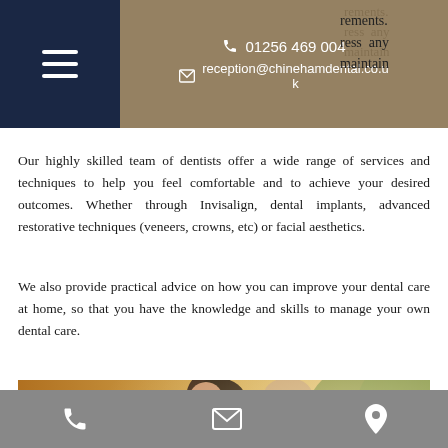01256 469 004 | reception@chinehamdental.co.uk
Our highly skilled team of dentists offer a wide range of services and techniques to help you feel comfortable and to achieve your desired outcomes. Whether through Invisalign, dental implants, advanced restorative techniques (veneers, crowns, etc) or facial aesthetics.
We also provide practical advice on how you can improve your dental care at home, so that you have the knowledge and skills to manage your own dental care.
[Figure (photo): Two smiling women laughing outdoors, one wearing white sunglasses]
Phone | Email | Location icons